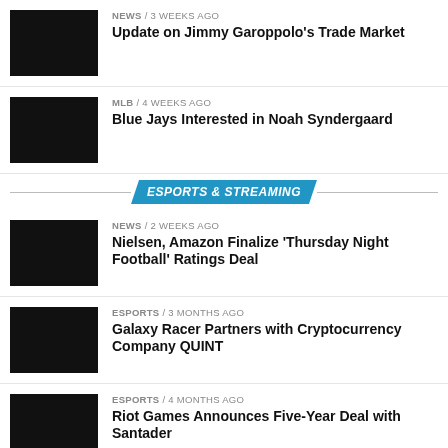NEWS / 3 weeks ago — Update on Jimmy Garoppolo's Trade Market
MLB / 4 weeks ago — Blue Jays Interested in Noah Syndergaard
ESPORTS & STREAMING
NEWS / 2 weeks ago — Nielsen, Amazon Finalize 'Thursday Night Football' Ratings Deal
ESPORTS / 3 months ago — Galaxy Racer Partners with Cryptocurrency Company QUINT
ESPORTS / 4 months ago — Riot Games Announces Five-Year Deal with Santader